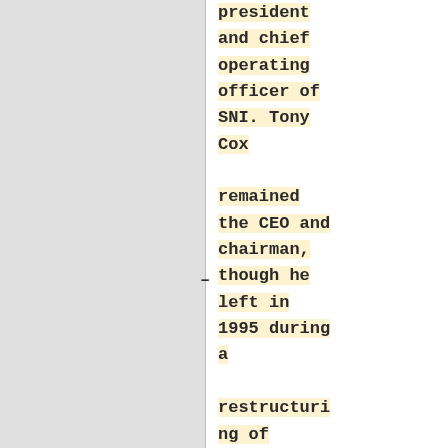president and chief operating officer of SNI. Tony Cox remained the CEO and chairman, though he left in 1995 during a restructuring of Showtime in which it became a subunit of Blockbuster Entertainment, a